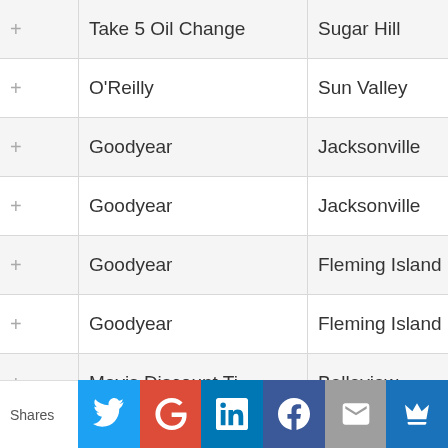|  | Name | City | State |
| --- | --- | --- | --- |
| + | Take 5 Oil Change | Sugar Hill | GA |
| + | O'Reilly | Sun Valley | NV |
| + | Goodyear | Jacksonville | FL |
| + | Goodyear | Jacksonville | FL |
| + | Goodyear | Fleming Island | FL |
| + | Goodyear | Fleming Island | FL |
| + | Mavis Discount Ti... | Belleview | FL |
| + | Mavis Discount Ti... | Homosassa | FL |
| + | O'Reill... |  | FL |
Shares